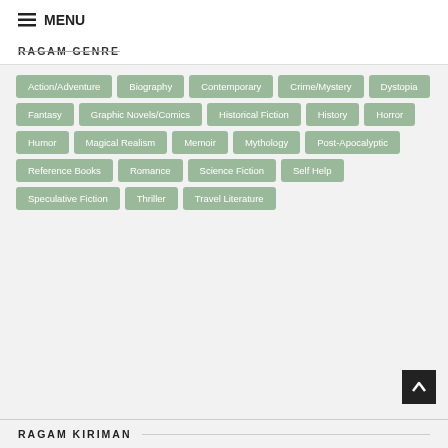≡ MENU
RAGAM GENRE
Action/Adventure
Biography
Contemporary
Crime/Mystery
Dystopia
Fantasy
Graphic Novels/Comics
Historical Fiction
History
Horror
Humor
Magical Realism
Memoir
Mythology
Post-Apocalyptic
Reference Books
Romance
Science Fiction
Self Help
Speculative Fiction
Thriller
Travel Literature
RAGAM KIRIMAN